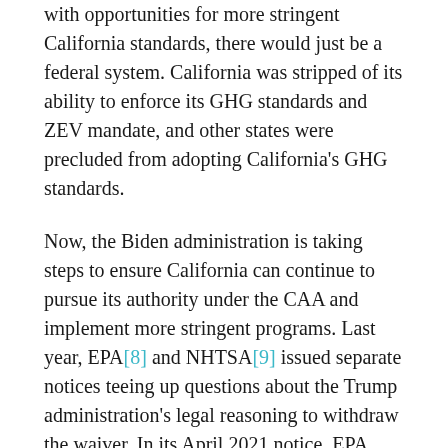with opportunities for more stringent California standards, there would just be a federal system. California was stripped of its ability to enforce its GHG standards and ZEV mandate, and other states were precluded from adopting California's GHG standards.
Now, the Biden administration is taking steps to ensure California can continue to pursue its authority under the CAA and implement more stringent programs. Last year, EPA[8] and NHTSA[9] issued separate notices teeing up questions about the Trump administration's legal reasoning to withdraw the waiver. In its April 2021 notice, EPA explained "there are significant issues" with the Trump administration's Part I Rule, including the time elapsed since EPA's 2013 waiver decision, the novel interpretations set forth in the Part I Rule, and the consideration of environmental conditions in California and consequences of the waiver's withdrawal.[10] In its proposal, NHTSA asserted that it does not, in fact, have authority to adopt legislative rules implementing express preemption under EPCA. I described both proposed actions more fully